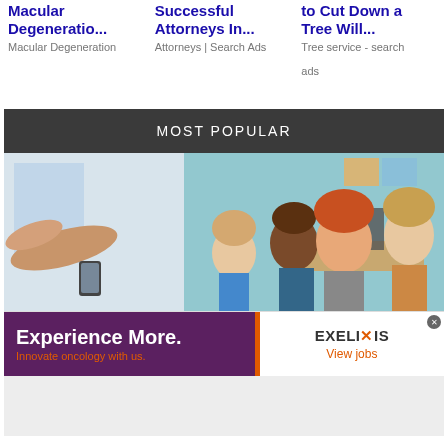Macular Degeneratio...
Macular Degeneration
Successful Attorneys In...
Attorneys | Search Ads
to Cut Down a Tree Will...
Tree service - search ads
MOST POPULAR
[Figure (photo): Classroom scene with teacher gesturing and children looking up attentively]
[Figure (infographic): Banner advertisement: Experience More. Innovate oncology with us. EXELIXIS View jobs]